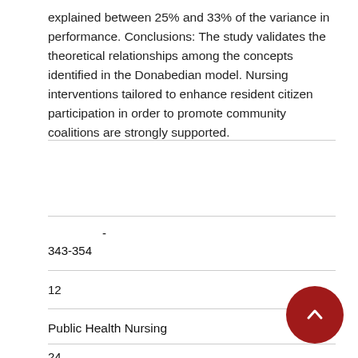explained between 25% and 33% of the variance in performance. Conclusions: The study validates the theoretical relationships among the concepts identified in the Donabedian model. Nursing interventions tailored to enhance resident citizen participation in order to promote community coalitions are strongly supported.
-
343-354
12
Public Health Nursing
24